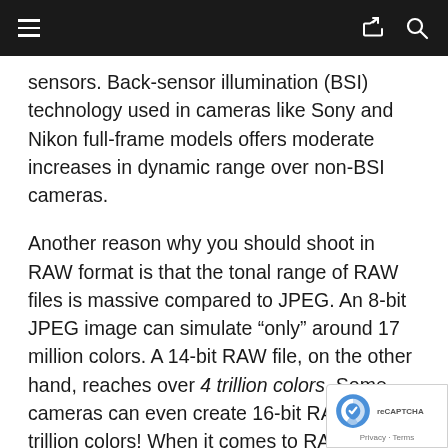[Navigation bar with hamburger menu, share icon, and search icon]
sensors. Back-sensor illumination (BSI) technology used in cameras like Sony and Nikon full-frame models offers moderate increases in dynamic range over non-BSI cameras.
Another reason why you should shoot in RAW format is that the tonal range of RAW files is massive compared to JPEG. An 8-bit JPEG image can simulate “only” around 17 million colors. A 14-bit RAW file, on the other hand, reaches over 4 trillion colors. Some cameras can even create 16-bit RAW for 281 trillion colors! When it comes to RAW vs JPEG, RAW is the king of image editing!